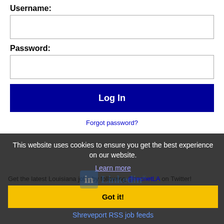Username:
Password:
Log In
Forgot password?
This website uses cookies to ensure you get the best experience on our website.
Learn more
Get the latest Louisiana jobs by following @recnetLA on Twitter!
Got it!
Shreveport RSS job feeds